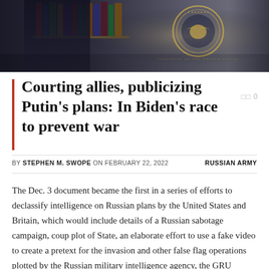[Figure (photo): Photograph showing a person in dark clothing in front of bookshelves and a Presidential seal, dark background]
Courting allies, publicizing Putin’s plans: In Biden’s race to prevent war
BY STEPHEN M. SWOPE ON FEBRUARY 22, 2022   RUSSIAN ARMY
The Dec. 3 document became the first in a series of efforts to declassify intelligence on Russian plans by the United States and Britain, which would include details of a Russian sabotage campaign, coup plot of State, an elaborate effort to use a fake video to create a pretext for the invasion and other false flag operations plotted by the Russian military intelligence agency, the GRU